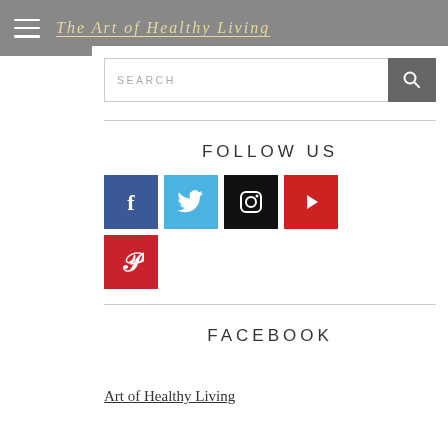The Art of Healthy Living
[Figure (screenshot): Search bar with text input field and search button icon]
FOLLOW US
[Figure (infographic): Social media icons: Facebook (blue), Twitter (light blue), Instagram (black), YouTube (red), Pinterest (red)]
FACEBOOK
Art of Healthy Living